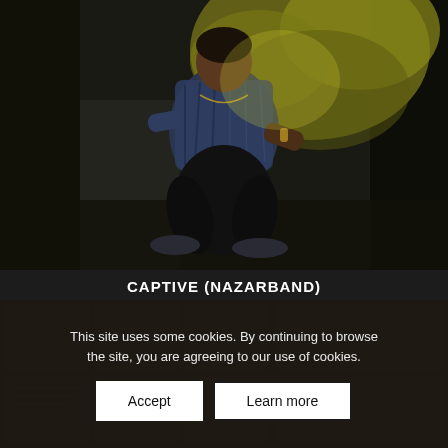[Figure (photo): A person crouching against a textured stone or concrete wall with yellow-green mossy patches, wearing a patterned shirt and dark pants, photographed in low dramatic lighting.]
CAPTIVE (NAZARBAND)
Suman Mukhopadhyay - 2020
This site uses some cookies. By continuing to browse the site, you are agreeing to our use of cookies.
Accept
Learn more